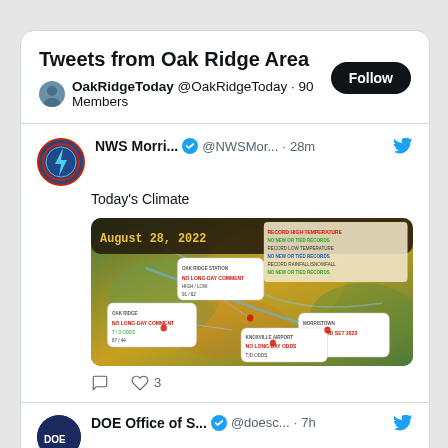Tweets from Oak Ridge Area
OakRidgeToday @OakRidgeToday · 90 Members
NWS Morri... @NWSMor... · 28m
Today's Climate
[Figure (map): Climate map dated August 28, 2022 showing regional weather data with white callout boxes containing temperature and climate record information for multiple locations.]
DOE Office of S... @doesc... · 7h